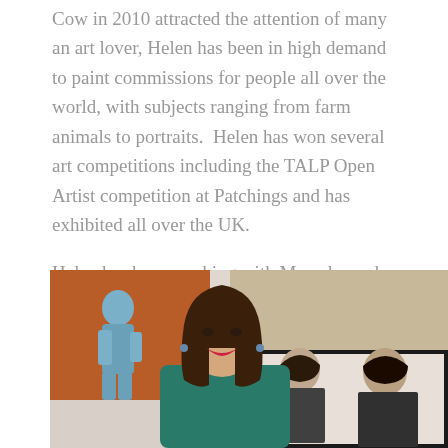'Cow' in 2010 attracted the attention of many an art lover, Helen has been in high demand to paint commissions for people all over the world, with subjects ranging from farm animals to portraits.  Helen has won several art competitions including the TALP Open Artist competition at Patchings and has exhibited all over the UK.
Helen has been working with Meander and Mooch since 2019.
[Figure (photo): A smiling woman with shoulder-length brown hair wearing a teal top, standing in front of paintings including a blue figurative painting on the left and a black-and-white portrait painting on the right.]